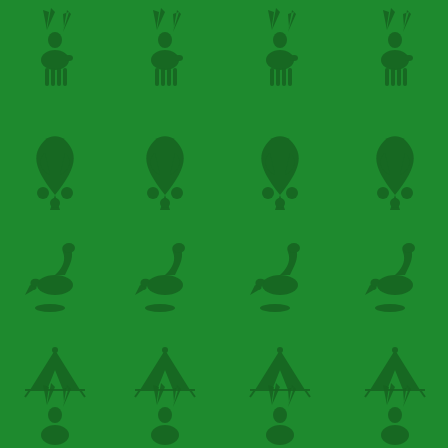[Figure (illustration): A repeating tile pattern on a medium green background featuring darker green silhouette icons arranged in a 4-column grid. The icons repeat in rows: row 1 shows deer/stag silhouettes with antlers, row 2 shows leaf/plant silhouettes, row 3 shows bird/swan silhouettes, row 4 shows tent/camping silhouettes, and row 5 (partially visible) shows more deer/stag silhouettes. The pattern tiles seamlessly across the entire page.]